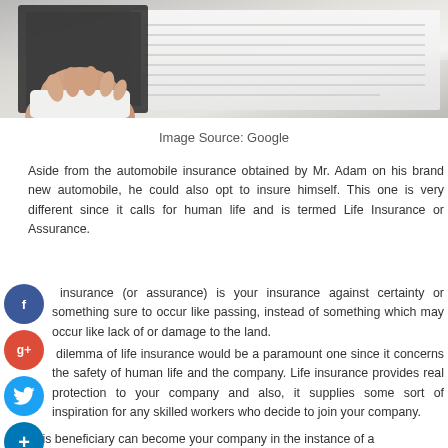[Figure (photo): A hand holding and reviewing a document or paper, photographed from above on a light background.]
Image Source: Google
Aside from the automobile insurance obtained by Mr. Adam on his brand new automobile, he could also opt to insure himself. This one is very different since it calls for human life and is termed Life Insurance or Assurance.
Life insurance (or assurance) is your insurance against certainty or something sure to occur like passing, instead of something which may occur like lack of or damage to the land.
The dilemma of life insurance would be a paramount one since it concerns the safety of human life and the company. Life insurance provides real protection to your company and also, it supplies some sort of inspiration for any skilled workers who decide to join your company.
This beneficiary can become your company in the instance of a